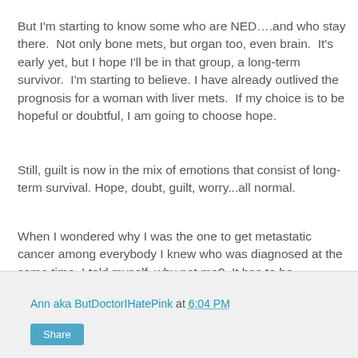But I'm starting to know some who are NED….and who stay there.  Not only bone mets, but organ too, even brain.  It's early yet, but I hope I'll be in that group, a long-term survivor.  I'm starting to believe. I have already outlived the prognosis for a woman with liver mets.  If my choice is to be hopeful or doubtful, I am going to choose hope.
Still, guilt is now in the mix of emotions that consist of long-term survival. Hope, doubt, guilt, worry...all normal.
When I wondered why I was the one to get metastatic cancer among everybody I knew who was diagnosed at the same time, I told myself, why not me?  It has to be somebody.  So that's going to be my answer when feelings of guilt rear up.
Why not me?  It has to be somebody.
Ann aka ButDoctorIHatePink at 6:04 PM